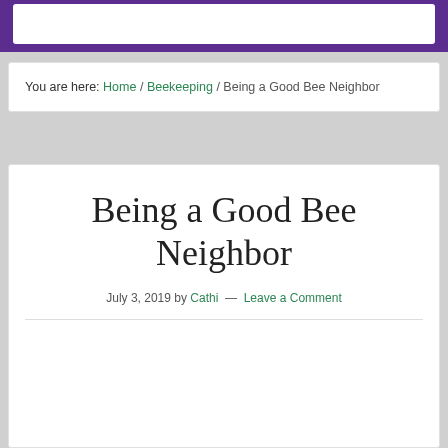You are here: Home / Beekeeping / Being a Good Bee Neighbor
Being a Good Bee Neighbor
July 3, 2019 by Cathi — Leave a Comment
[Figure (photo): Person in white beekeeper suit and veil holding a wooden frame or box, standing outdoors with greenery in background]